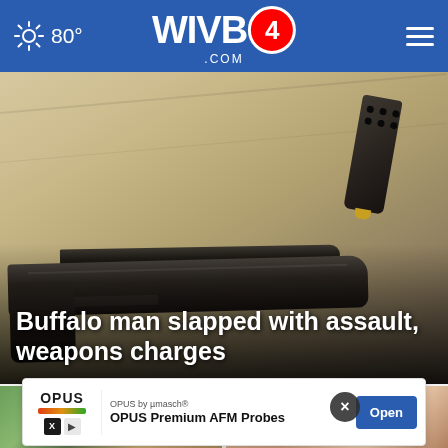WIVB4.com — 80°
[Figure (photo): Close-up photo of a black semi-automatic pistol and detached magazine on a beige surface]
Buffalo man slapped with assault, weapons charges
[Figure (photo): Two thumbnail images: left shows urban buildings near water, right shows a person with blonde/grey hair]
[Figure (other): Advertisement banner: OPUS by µmasch® — OPUS Premium AFM Probes — Open button]